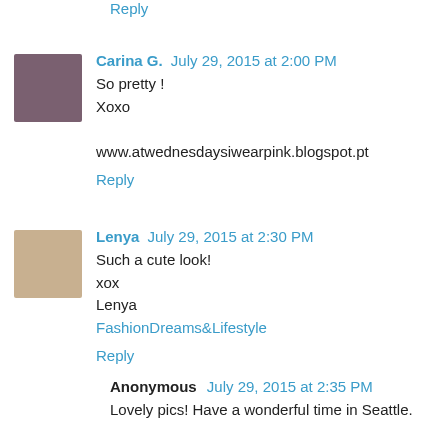Reply (partial, top of page, cut off)
Carina G.  July 29, 2015 at 2:00 PM
So pretty !
Xoxo

www.atwednesdaysiwearpink.blogspot.pt
Reply
Lenya  July 29, 2015 at 2:30 PM
Such a cute look!
xox
Lenya
FashionDreams&Lifestyle
Reply
Anonymous  July 29, 2015 at 2:35 PM
Lovely pics! Have a wonderful time in Seattle.